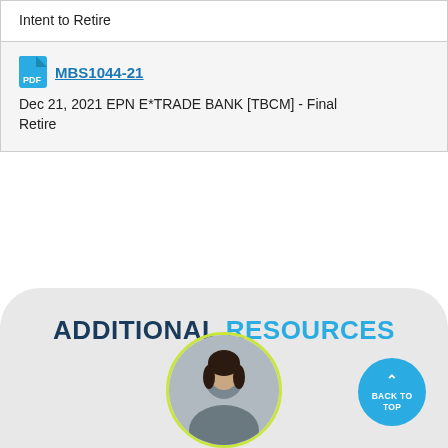Intent to Retire
MBS1044-21
Dec 21, 2021 EPN E*TRADE BANK [TBCM] - Final Retire
ADDITIONAL RESOURCES
[Figure (photo): Circular photo of a professional woman, cropped at bottom of page with yellow-green border]